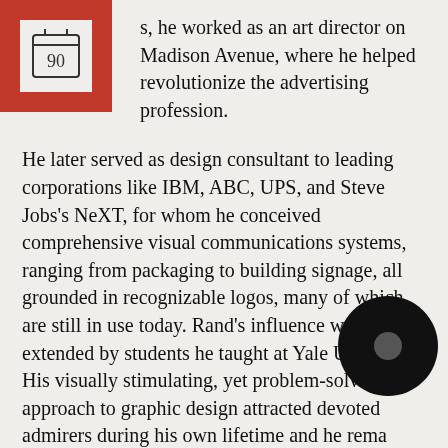s, he worked as an art director on Madison Avenue, where he helped revolutionize the advertising profession.
He later served as design consultant to leading corporations like IBM, ABC, UPS, and Steve Jobs's NeXT, for whom he conceived comprehensive visual communications systems, ranging from packaging to building signage, all grounded in recognizable logos, many of which are still in use today. Rand's influence was extended by students he taught at Yale University. His visually stimulating, yet problem-solving, approach to graphic design attracted devoted admirers during his own lifetime and he remains influential today.
Exhibition co-chairs: